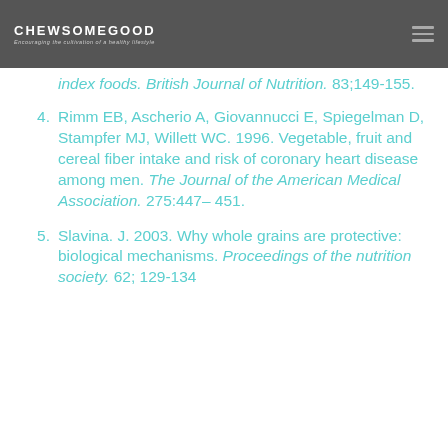[Figure (logo): ChewSomeGood logo with tagline 'Encouraging the cultivation of a healthy lifestyle' on dark grey header bar]
index foods. British Journal of Nutrition. 83;149-155.
4. Rimm EB, Ascherio A, Giovannucci E, Spiegelman D, Stampfer MJ, Willett WC. 1996. Vegetable, fruit and cereal fiber intake and risk of coronary heart disease among men. The Journal of the American Medical Association. 275:447– 451.
5. Slavina. J. 2003. Why whole grains are protective: biological mechanisms. Proceedings of the nutrition society. 62; 129-134